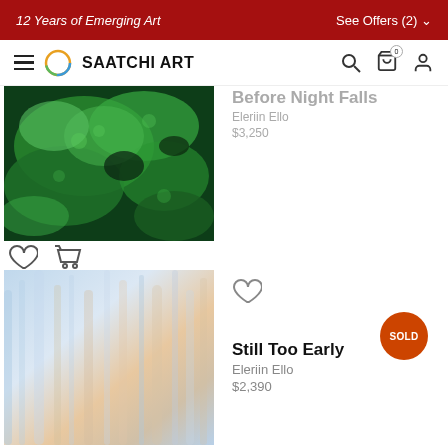12 Years of Emerging Art | See Offers (2)
SAATCHI ART
[Figure (photo): Aerial view of green algae or tree canopy with dark water/shadow underneath - artwork titled Autumn Morning]
Before Night Falls
Eleriin Ello
$3,250
Autumn Morning
Eleriin Ello
$2,210
[Figure (photo): Abstract blue and peach/tan soft fabric or sky texture - artwork titled Still Too Early]
Still Too Early
Eleriin Ello
$2,390